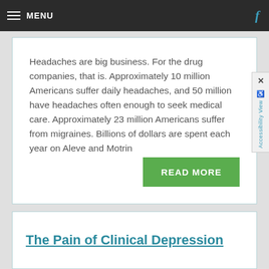MENU
Headaches are big business. For the drug companies, that is. Approximately 10 million Americans suffer daily headaches, and 50 million have headaches often enough to seek medical care. Approximately 23 million Americans suffer from migraines. Billions of dollars are spent each year on Aleve and Motrin
The Pain of Clinical Depression